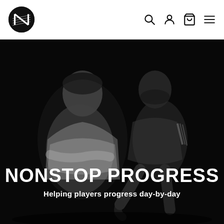NONSTOP PROGRESS — site header with logo and nav icons
[Figure (photo): Black and white hero image of two soccer players against a dark background. One player faces forward with arms crossed wearing a light jersey; the other player is mid-kick wearing an Adidas jersey.]
NONSTOP PROGRESS
Helping players progress day-by-day